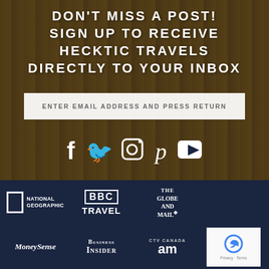DON'T MISS A POST!
SIGN UP TO RECEIVE
HECKTIC TRAVELS
DIRECTLY TO YOUR INBOX
ENTER EMAIL ADDRESS AND PRESS RETURN
[Figure (infographic): Social media icons: Facebook, Twitter, Instagram, Pinterest, YouTube — white icons on dark photo background]
[Figure (logo): National Geographic logo — white square outline with NATIONAL GEOGRAPHIC text]
[Figure (logo): BBC TRAVEL logo in white]
[Figure (logo): The Globe and Mail logo in white serif text]
[Figure (logo): MoneySense logo in white italic serif text]
[Figure (logo): Business Insider logo in white small-caps serif]
[Figure (logo): CTV Canada AM logo in white]
[Figure (screenshot): reCAPTCHA widget with privacy and terms links]